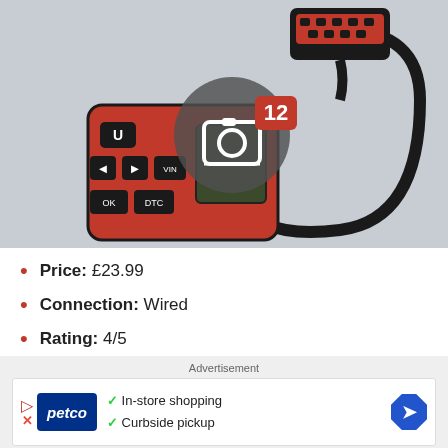[Figure (photo): OBD2 car diagnostic scanner device in red and black, with a cable attached leading to an OBD connector. A camera icon overlay with badge showing '12' is visible in the center of the image.]
Price: £23.99
Connection: Wired
Rating: 4/5
Advertisement
[Figure (screenshot): Petco advertisement banner with logo, checkmarks for 'In-store shopping' and 'Curbside pickup', and a navigation arrow icon.]